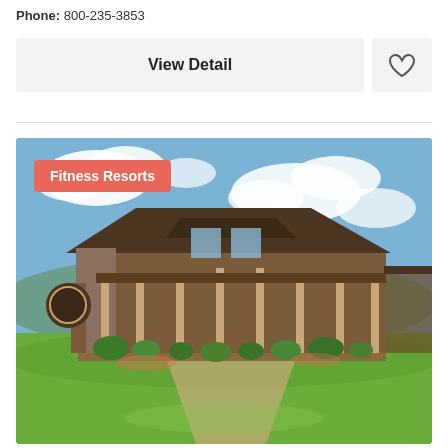Phone: 800-235-3853
View Detail
[Figure (photo): Exterior photo of a rustic wooden lodge-style fitness resort building with a large wraparound porch, stone accents, surrounded by green lawn, gardens, and a partly cloudy blue sky. A pink badge reads 'Fitness Resorts'.]